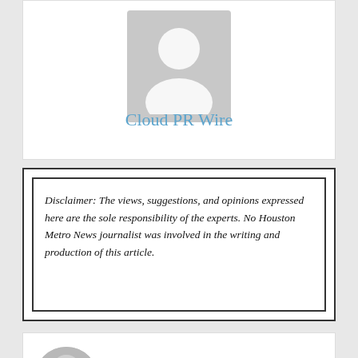[Figure (illustration): Generic user avatar placeholder image in gray with head and shoulders silhouette]
Cloud PR Wire
Disclaimer: The views, suggestions, and opinions expressed here are the sole responsibility of the experts. No Houston Metro News journalist was involved in the writing and production of this article.
Author: Cloud PR Wire
[Figure (illustration): Generic circular author avatar placeholder in gray]